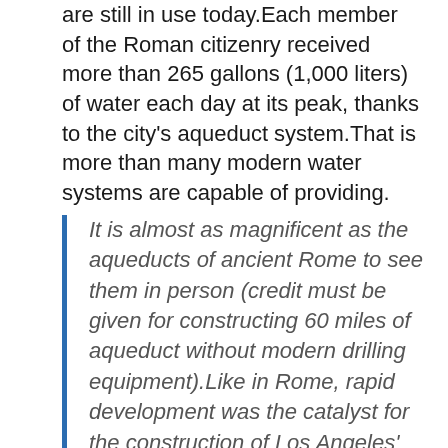are still in use today.Each member of the Roman citizenry received more than 265 gallons (1,000 liters) of water each day at its peak, thanks to the city's aqueduct system.That is more than many modern water systems are capable of providing.
It is almost as magnificent as the aqueducts of ancient Rome to see them in person (credit must be given for constructing 60 miles of aqueduct without modern drilling equipment).Like in Rome, rapid development was the catalyst for the construction of Los Angeles' first aqueduct, which was completed in 1869.At one point in the early 1900s, population growth was so